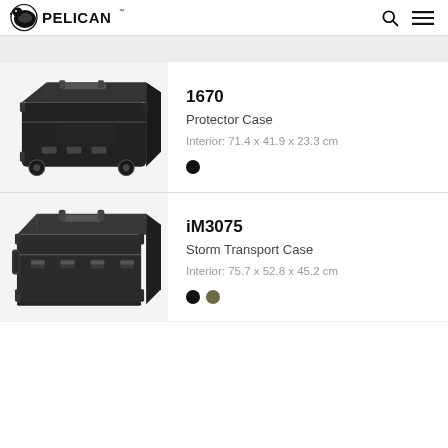PELICAN
[Figure (photo): Pelican 1670 Protector Case - large black rolling hard case photographed at angle on white/grey background]
1670
Protector Case
Interior: 71.4 x 41.9 x 23.3 cm
[Figure (photo): Pelican iM3075 Storm Transport Case - large dark olive/black hard case with handles photographed at angle on white background]
iM3075
Storm Transport Case
Interior: 75.7 x 52.8 x 45.2 cm